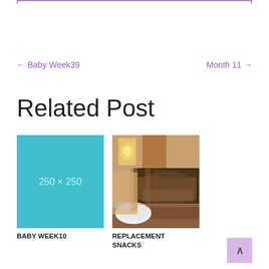← Baby Week39
Month 11 →
Related Post
[Figure (other): Placeholder image 250×250 in teal/cyan color]
BABY WEEK10
[Figure (photo): Photo of a seeded bread loaf with a bowl of cream/dip on a cloth]
REPLACEMENT SNACKS